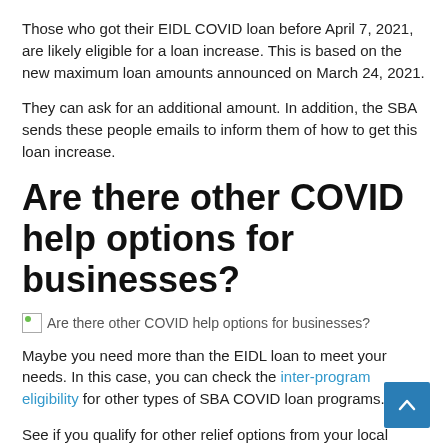Those who got their EIDL COVID loan before April 7, 2021, are likely eligible for a loan increase. This is based on the new maximum loan amounts announced on March 24, 2021.
They can ask for an additional amount. In addition, the SBA sends these people emails to inform them of how to get this loan increase.
Are there other COVID help options for businesses?
[Figure (illustration): Broken image placeholder with alt text: Are there other COVID help options for businesses?]
Maybe you need more than the EIDL loan to meet your needs. In this case, you can check the inter-program eligibility for other types of SBA COVID loan programs.
See if you qualify for other relief options from your local